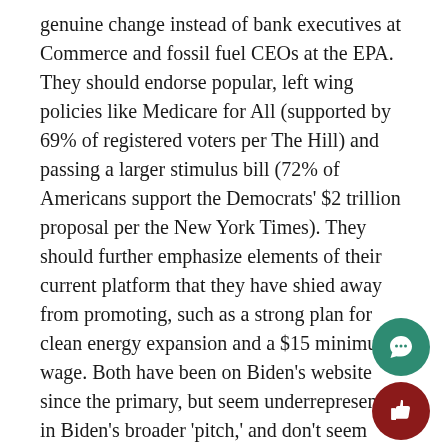genuine change instead of bank executives at Commerce and fossil fuel CEOs at the EPA. They should endorse popular, left wing policies like Medicare for All (supported by 69% of registered voters per The Hill) and passing a larger stimulus bill (72% of Americans support the Democrats' $2 trillion proposal per the New York Times). They should further emphasize elements of their current platform that they have shied away from promoting, such as a strong plan for clean energy expansion and a $15 minimum wage. Both have been on Biden's website since the primary, but seem underrepresented in Biden's broader 'pitch,' and don't seem likely to be pushed by a more moderate cabinet. All signs point to a Democratic Party with a unique window to redefine itself, now that it must become more than "not Trump." We can only hope that the Biden administration makes the logical choice.